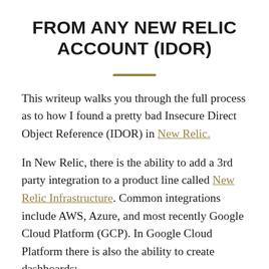FROM ANY NEW RELIC ACCOUNT (IDOR)
This writeup walks you through the full process as to how I found a pretty bad Insecure Direct Object Reference (IDOR) in New Relic.
In New Relic, there is the ability to add a 3rd party integration to a product line called New Relic Infrastructure. Common integrations include AWS, Azure, and most recently Google Cloud Platform (GCP). In Google Cloud Platform there is also the ability to create dashboards: